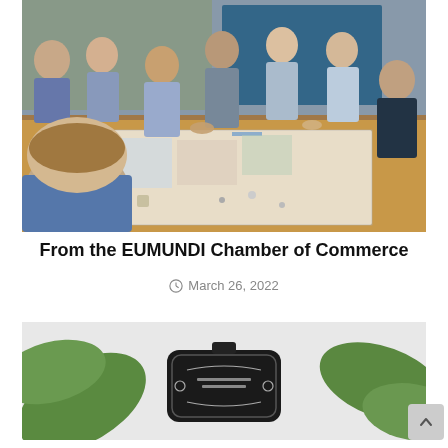[Figure (photo): Group of people standing around a large table, studying and discussing a large map or plan spread out on the table. Indoor setting with wooden table and artwork visible in background.]
From the EUMUNDI Chamber of Commerce
March 26, 2022
[Figure (photo): Partial view of a dark badge or sign with decorative elements, surrounded by large green leaves against a light background.]